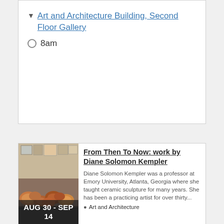Art and Architecture Building, Second Floor Gallery
8am
[Figure (photo): Photo of ceramic sculptures by Diane Solomon Kempler displayed in an art gallery. Text overlay reads AUG 30 - SEP 14.]
From Then To Now: work by Diane Solomon Kempler
Diane Solomon Kempler was a professor at Emory University, Atlanta, Georgia where she taught ceramic sculpture for many years. She has been a practicing artist for over thirty...
Art and Architecture